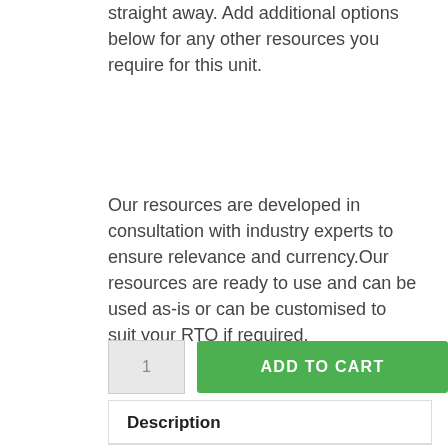straight away. Add additional options below for any other resources you require for this unit.
Our resources are developed in consultation with industry experts to ensure relevance and currency.Our resources are ready to use and can be used as-is or can be customised to suit your RTO if required.
[Figure (screenshot): Quantity input box showing '1' and a green 'ADD TO CART' button]
Description